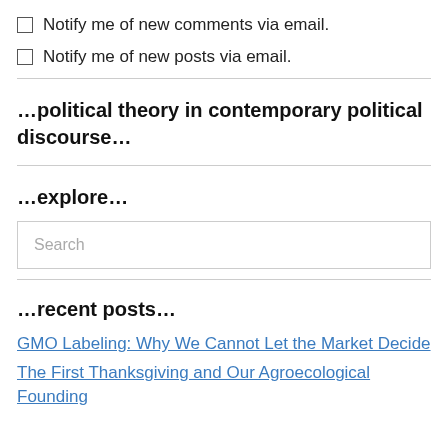Notify me of new comments via email.
Notify me of new posts via email.
…political theory in contemporary political discourse…
…explore…
Search
…recent posts…
GMO Labeling: Why We Cannot Let the Market Decide
The First Thanksgiving and Our Agroecological Founding